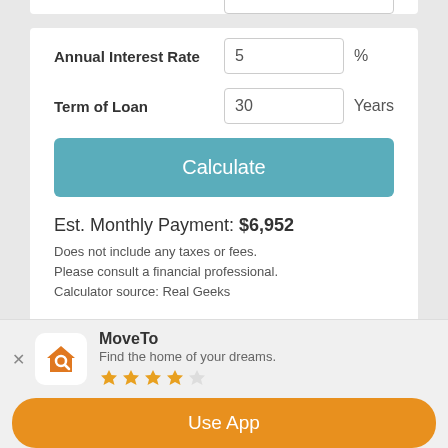Annual Interest Rate: 5 %
Term of Loan: 30 Years
Calculate
Est. Monthly Payment: $6,952
Does not include any taxes or fees.
Please consult a financial professional.
Calculator source: Real Geeks
Listing courtesy of 850 Properties - Santa Rosa Beach.
Vendor Member Number : 39166
MoveTo
Find the home of your dreams.
Use App